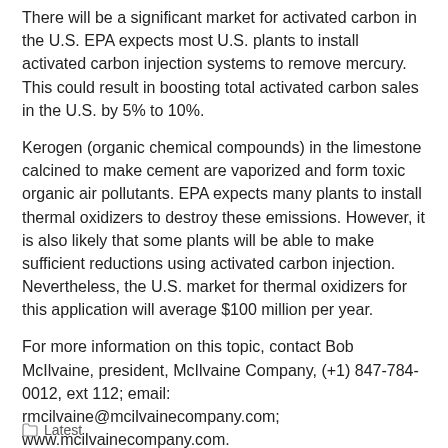There will be a significant market for activated carbon in the U.S. EPA expects most U.S. plants to install activated carbon injection systems to remove mercury. This could result in boosting total activated carbon sales in the U.S. by 5% to 10%.
Kerogen (organic chemical compounds) in the limestone calcined to make cement are vaporized and form toxic organic air pollutants. EPA expects many plants to install thermal oxidizers to destroy these emissions. However, it is also likely that some plants will be able to make sufficient reductions using activated carbon injection. Nevertheless, the U.S. market for thermal oxidizers for this application will average $100 million per year.
For more information on this topic, contact Bob McIlvaine, president, McIlvaine Company, (+1) 847-784-0012, ext 112; email: rmcilvaine@mcilvainecompany.com; www.mcilvainecompany.com.
Latest